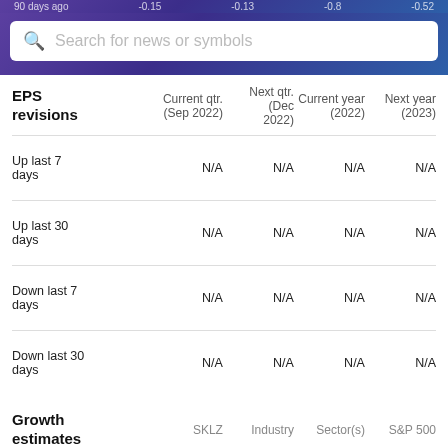90 days ago   -0.15   -0.13   -0.8   -0.52
| EPS revisions | Current qtr. (Sep 2022) | Next qtr. (Dec 2022) | Current year (2022) | Next year (2023) |
| --- | --- | --- | --- | --- |
| Up last 7 days | N/A | N/A | N/A | N/A |
| Up last 30 days | N/A | N/A | N/A | N/A |
| Down last 7 days | N/A | N/A | N/A | N/A |
| Down last 30 days | N/A | N/A | N/A | N/A |
| Growth estimates | SKLZ | Industry | Sector(s) | S&P 500 |
| --- | --- | --- | --- | --- |
| Current qtr. | N/A | N/A | N/A | N/A |